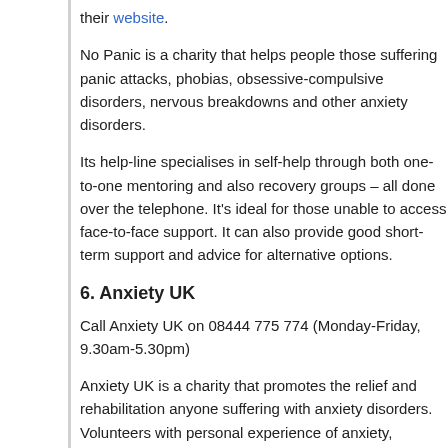their website.
No Panic is a charity that helps people those suffering panic attacks, phobias, obsessive-compulsive disorders, nervous breakdowns and other anxiety disorders.
Its help-line specialises in self-help through both one-to-one mentoring and also recovery groups – all done over the telephone. It's ideal for those unable to access face-to-face support. It can also provide good short-term support and advice for alternative options.
6. Anxiety UK
Call Anxiety UK on 08444 775 774 (Monday-Friday, 9.30am-5.30pm)
Anxiety UK is a charity that promotes the relief and rehabilitation anyone suffering with anxiety disorders. Volunteers with personal experience of anxiety, providing first-hand support to sufferers, man their helpline.